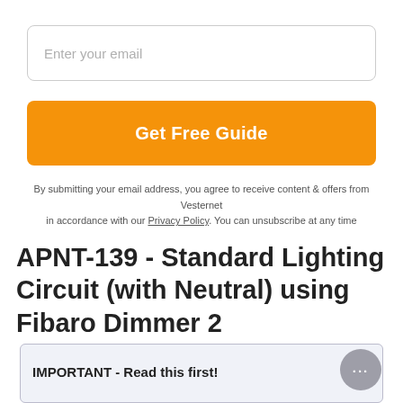Enter your email
Get Free Guide
By submitting your email address, you agree to receive content & offers from Vesternet in accordance with our Privacy Policy. You can unsubscribe at any time
APNT-139 - Standard Lighting Circuit (with Neutral) using Fibaro Dimmer 2
IMPORTANT - Read this first!